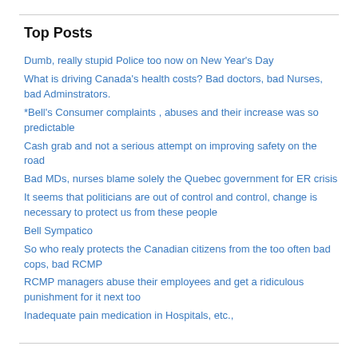Top Posts
Dumb, really stupid Police too now on New Year's Day
What is driving Canada's health costs? Bad doctors, bad Nurses, bad Adminstrators.
*Bell's Consumer complaints , abuses and their increase was so predictable
Cash grab and not a serious attempt on improving safety on the road
Bad MDs, nurses blame solely the Quebec government for ER crisis
It seems that politicians are out of control and control, change is necessary to protect us from these people
Bell Sympatico
So who realy protects the Canadian citizens from the too often bad cops, bad RCMP
RCMP managers abuse their employees and get a ridiculous punishment for it next too
Inadequate pain medication in Hospitals, etc.,